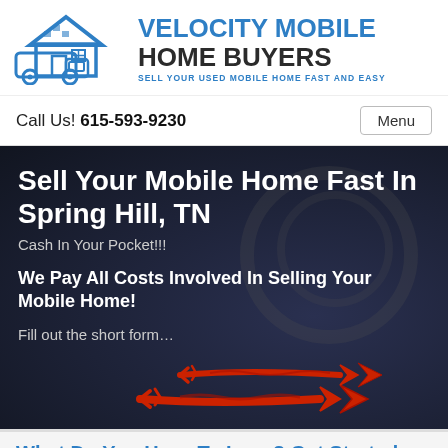[Figure (logo): Velocity Mobile Home Buyers logo with blue house and van icon on left, company name on right in dark and blue text, tagline 'SELL YOUR USED MOBILE HOME FAST AND EASY']
Call Us! 615-593-9230
Menu
Sell Your Mobile Home Fast In Spring Hill, TN
Cash In Your Pocket!!!
We Pay All Costs Involved In Selling Your Mobile Home!
Fill out the short form…
[Figure (illustration): Two red hand-drawn arrows pointing to the right]
What Do You Have To Lose? Get Started